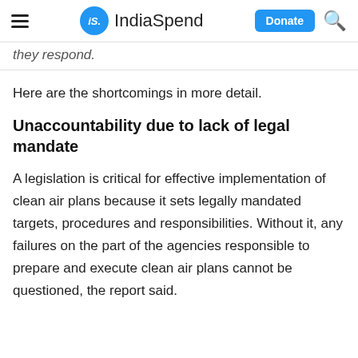IndiaSpend — Donate
they respond.
Here are the shortcomings in more detail.
Unaccountability due to lack of legal mandate
A legislation is critical for effective implementation of clean air plans because it sets legally mandated targets, procedures and responsibilities. Without it, any failures on the part of the agencies responsible to prepare and execute clean air plans cannot be questioned, the report said.